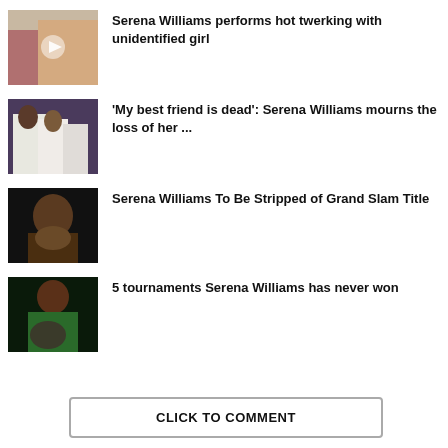[Figure (photo): Photo of two women twerking with a play button overlay]
Serena Williams performs hot twerking with unidentified girl
[Figure (photo): Photo of Serena Williams hugging people in white clothing]
'My best friend is dead': Serena Williams mourns the loss of her ...
[Figure (photo): Close-up portrait of Serena Williams with dark background]
Serena Williams To Be Stripped of Grand Slam Title
[Figure (photo): Serena Williams playing tennis in green outfit]
5 tournaments Serena Williams has never won
CLICK TO COMMENT